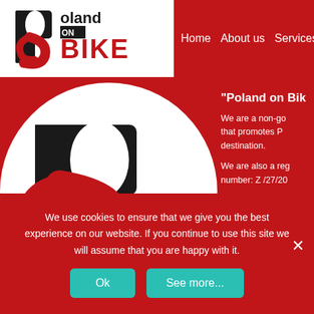[Figure (logo): Poland on Bike logo in navigation bar — black and red 'PB' letters with text 'Poland on Bike' on white background]
Home   About us   Services   😊 Support
[Figure (logo): Poland on Bike circular logo — large white circle with black and red 'PB' stylized letters on red background]
"Poland on Bik
We are a non-go that promotes P destination.
We are also a reg number: Z /27/20
[Figure (infographic): Social media icons: Facebook (blue circle with f), Instagram (blue circle with camera icon), WhatsApp (green circle with phone icon)]
We use cookies to ensure that we give you the best experience on our website. If you continue to use this site we will assume that you are happy with it.
Ok   See more...